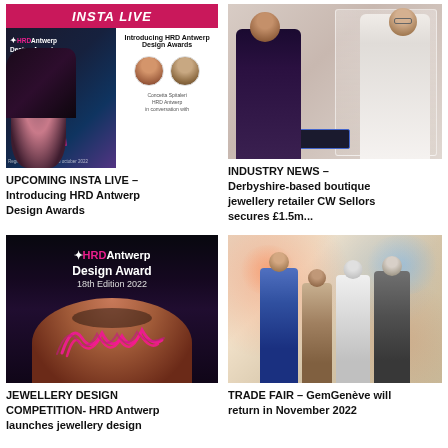[Figure (photo): Insta Live banner with HRD Antwerp Design Award image showing a woman's face with pink eye makeup on left, and Instagram live session details with two presenter avatars on right]
UPCOMING INSTA LIVE – Introducing HRD Antwerp Design Awards
[Figure (photo): Person showing jewellery to a customer across a display counter in a boutique setting]
INDUSTRY NEWS – Derbyshire-based boutique jewellery retailer CW Sellors secures £1.5m...
[Figure (photo): HRD Antwerp Design Award 18th Edition 2022 promotional image showing a woman's face with dramatic pink eyelashes]
JEWELLERY DESIGN COMPETITION- HRD Antwerp launches jewellery design
[Figure (photo): Group of four people standing together at GemGenève trade fair]
TRADE FAIR – GemGenève will return in November 2022